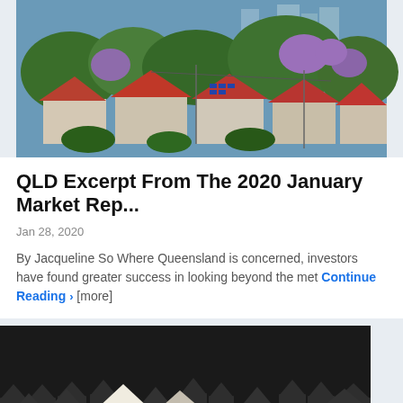[Figure (photo): Aerial view of suburban houses with red tile roofs surrounded by green trees and purple jacaranda trees, with city buildings visible in the background.]
QLD Excerpt From The 2020 January Market Rep...
Jan 28, 2020
By Jacqueline So Where Queensland is concerned, investors have found greater success in looking beyond the met [more]
Continue Reading >
[Figure (photo): Dark background image of multiple small house icons/models, with one illuminated house in the foreground standing out against the darker surrounding houses.]